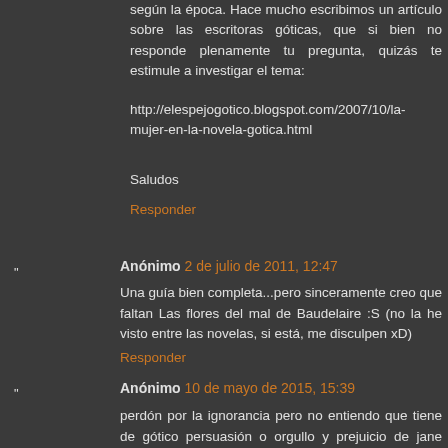según la época. Hace mucho escribimos un artículo sobre las escritoras góticas, que si bien no responde plenamente tu pregunta, quizás te estimule a investigar el tema:
http://elespejogotico.blogspot.com/2007/10/la-mujer-en-la-novela-gotica.html
Saludos
Responder
Anónimo 2 de julio de 2011, 12:47
Una guía bien completa...pero sinceramente creo que faltan Las flores del mal de Baudelaire :S (no la he visto entre las novelas, si está, me disculpen xD)
Responder
Anónimo 10 de mayo de 2015, 15:39
perdón por la ignorancia pero no entiendo que tiene de gótico persuasión o orgullo y prejuicio de jane austen?, me